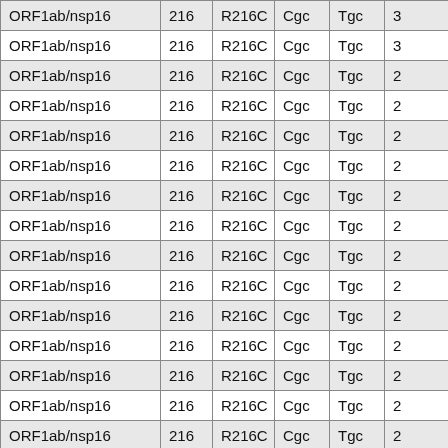| ORF1ab/nsp1... | 216 | R216C | Cgc | Tgc | ... |
| --- | --- | --- | --- | --- | --- |
| ORF1ab/nsp16 | 216 | R216C | Cgc | Tgc | 3 |
| ORF1ab/nsp16 | 216 | R216C | Cgc | Tgc | 3 |
| ORF1ab/nsp16 | 216 | R216C | Cgc | Tgc | 2 |
| ORF1ab/nsp16 | 216 | R216C | Cgc | Tgc | 2 |
| ORF1ab/nsp16 | 216 | R216C | Cgc | Tgc | 2 |
| ORF1ab/nsp16 | 216 | R216C | Cgc | Tgc | 2 |
| ORF1ab/nsp16 | 216 | R216C | Cgc | Tgc | 2 |
| ORF1ab/nsp16 | 216 | R216C | Cgc | Tgc | 2 |
| ORF1ab/nsp16 | 216 | R216C | Cgc | Tgc | 2 |
| ORF1ab/nsp16 | 216 | R216C | Cgc | Tgc | 2 |
| ORF1ab/nsp16 | 216 | R216C | Cgc | Tgc | 2 |
| ORF1ab/nsp16 | 216 | R216C | Cgc | Tgc | 2 |
| ORF1ab/nsp16 | 216 | R216C | Cgc | Tgc | 2 |
| ORF1ab/nsp16 | 216 | R216C | Cgc | Tgc | 2 |
| ORF1ab/nsp16 | 216 | R216C | Cgc | Tgc | 2 |
| ORF1ab/nsp16 | 216 | R216C | Cgc | Tgc | 2 |